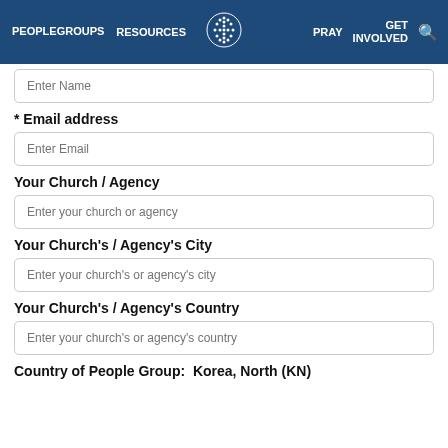PEOPLE GROUPS  RESOURCES  PRAY  GET INVOLVED
Enter Name
* Email address
Enter Email
Your Church / Agency
Enter your church or agency
Your Church's / Agency's City
Enter your church's or agency's city
Your Church's / Agency's Country
Enter your church's or agency's country
Country of People Group:  Korea, North (KN)